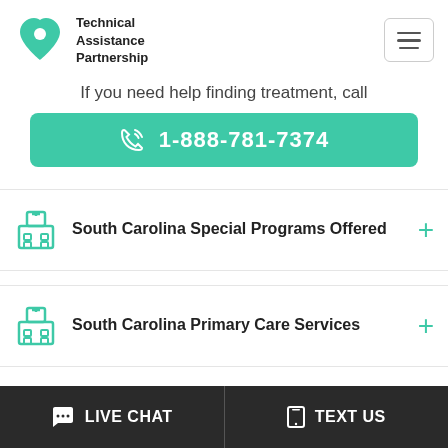Technical Assistance Partnership
If you need help finding treatment, call
1-888-781-7374
South Carolina Special Programs Offered
South Carolina Primary Care Services
LIVE CHAT   TEXT US